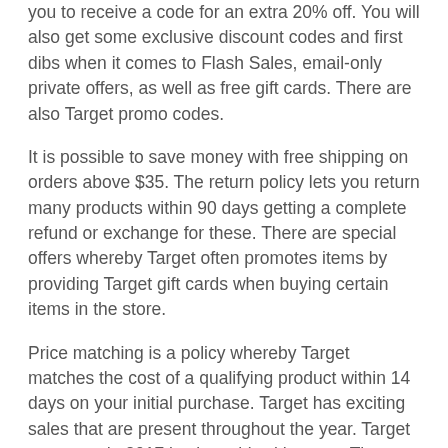you to receive a code for an extra 20% off. You will also get some exclusive discount codes and first dibs when it comes to Flash Sales, email-only private offers, as well as free gift cards. There are also Target promo codes.
It is possible to save money with free shipping on orders above $35. The return policy lets you return many products within 90 days getting a complete refund or exchange for these. There are special offers whereby Target often promotes items by providing Target gift cards when buying certain items in the store.
Price matching is a policy whereby Target matches the cost of a qualifying product within 14 days on your initial purchase. Target has exciting sales that are present throughout the year. Target promo code 2017 is also a hit with users. These have regular discounts that are still 50% off certain merchandise.
There are even loyalty programs that can help you save money. Target provides a 5% discount on every purchase to those customers who have their exclusive REDcard™.